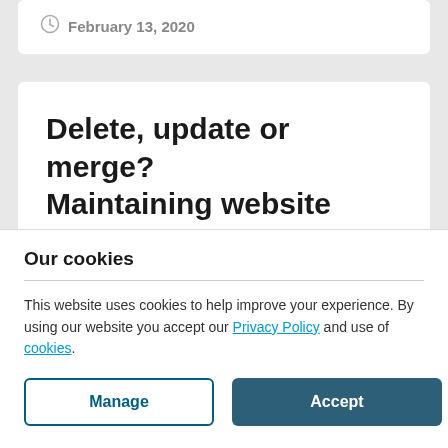February 13, 2020
Delete, update or merge? Maintaining website content...
Our cookies
This website uses cookies to help improve your experience. By using our website you accept our Privacy Policy and use of cookies.
Manage | Accept